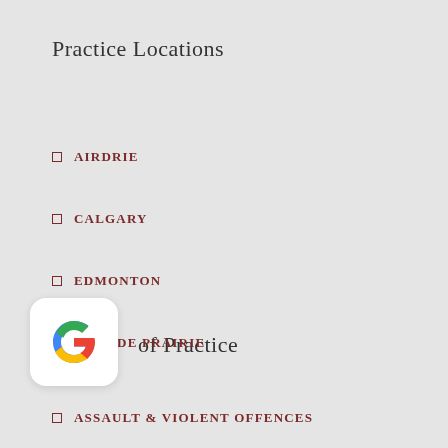Practice Locations
AIRDRIE
CALGARY
EDMONTON
GRANDE PRAIRIE
LETHBRIDGE
MEDICINE HAT
RED DEER
ST. ALBERT
[Figure (logo): Google G logo in white rounded square box]
of Practice
ASSAULT & VIOLENT OFFENCES